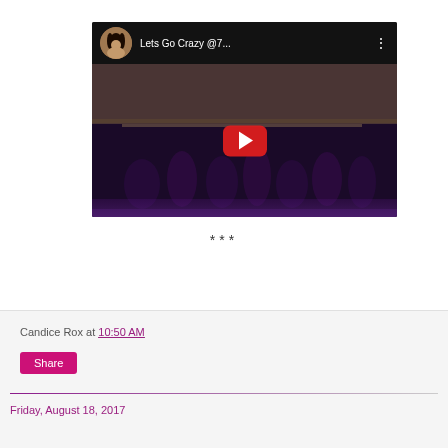[Figure (screenshot): YouTube video thumbnail showing dancers on stage with title 'Lets Go Crazy @7...' and YouTube play button overlay]
***
Candice Rox at 10:50 AM
Share
Friday, August 18, 2017